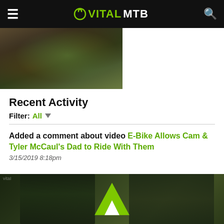VITALMTB
[Figure (photo): Blurred action photo of mountain biker on dirt trail with green foliage]
Recent Activity
Filter: All
Added a comment about video E-Bike Allows Cam & Tyler McCaul's Dad to Ride With Them
3/15/2019 8:18pm
[Figure (photo): Two mountain bikers with helmets on a trail; green play button triangle overlay visible in center]